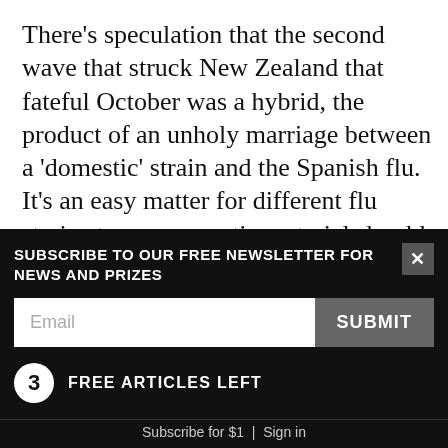There's speculation that the second wave that struck New Zealand that fateful October was a hybrid, the product of an unholy marriage between a 'domestic' strain and the Spanish flu. It's an easy matter for different flu strains to swap genetic material should they meet. Ordinarily, a bird flu can't infect humans it's not adapted to survive in our cells but if it should somehow fraternise with a human flu (called re-assortment). their 'progeny' might inherit the capabilities of both strains.
But first, they have to infect the same animal. Ver...
SUBSCRIBE TO OUR FREE NEWSLETTER FOR NEWS AND PRIZES
Email
SUBMIT
3 FREE ARTICLES LEFT
Subscribe for $1 | Sign in